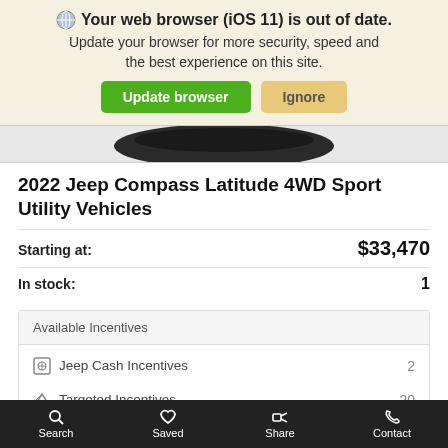🌐 Your web browser (iOS 11) is out of date. Update your browser for more security, speed and the best experience on this site.
[Figure (screenshot): Partial top view of a dark vehicle roof]
2022 Jeep Compass Latitude 4WD Sport Utility Vehicles
Starting at: $33,470
In stock: 1
Available Incentives
Jeep Cash Incentives  2
Targeted Incentives  20
Finance Offers  2
Lease Offers  2
Search  Saved  Share  Contact